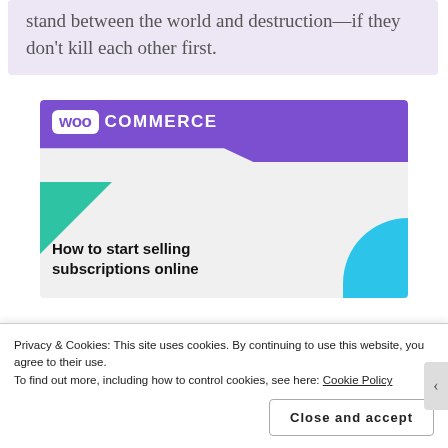stand between the world and destruction—if they don't kill each other first.
[Figure (illustration): WooCommerce advertisement showing purple banner with WooCommerce logo, green triangle accent, blue arc accent, and text 'How to start selling subscriptions online']
Privacy & Cookies: This site uses cookies. By continuing to use this website, you agree to their use.
To find out more, including how to control cookies, see here: Cookie Policy
Close and accept